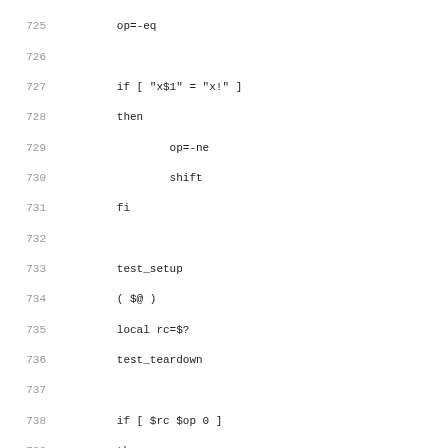Code listing lines 725-756, shell script source code